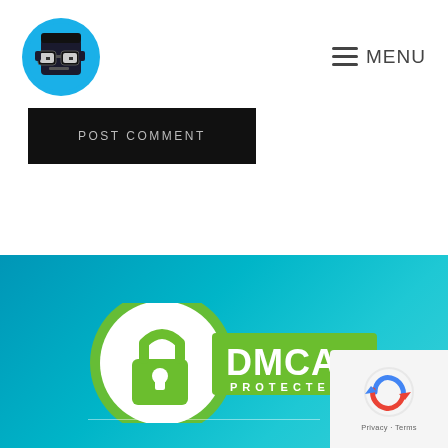[Figure (logo): Blue circular logo with pixel-art face wearing glasses]
≡ MENU
POST COMMENT
[Figure (logo): DMCA Protected badge with green padlock icon on teal/blue gradient background]
[Figure (logo): reCAPTCHA widget box with Privacy and Terms links]